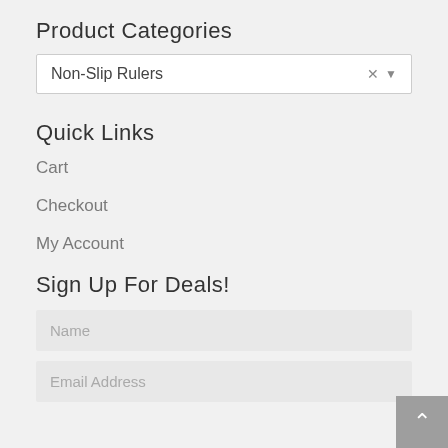Product Categories
Non-Slip Rulers
Quick Links
Cart
Checkout
My Account
Sign Up For Deals!
Name
Email Address